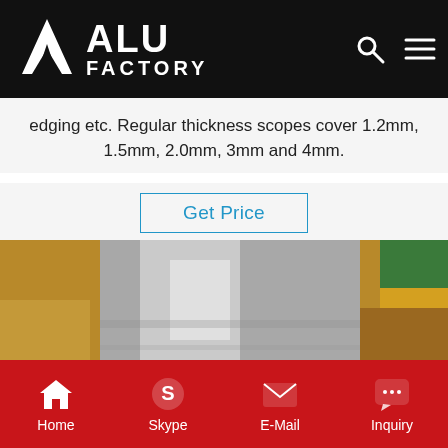ALU FACTORY
edging etc. Regular thickness scopes cover 1.2mm, 1.5mm, 2.0mm, 3mm and 4mm.
Get Price
[Figure (photo): Aluminum sheet metal product photo, showing a smooth reflective aluminum sheet with cardboard packaging on both sides and colored material visible on the right edge.]
Home  Skype  E-Mail  Inquiry